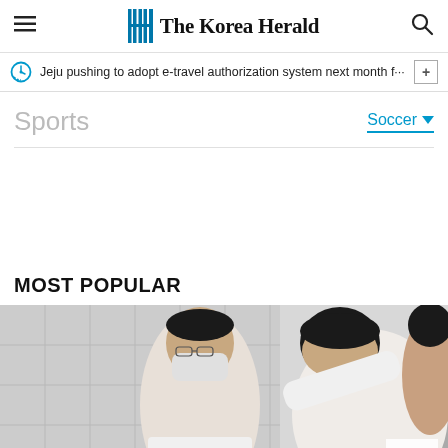The Korea Herald
Jeju pushing to adopt e-travel authorization system next month f···
Sports
Soccer
MOST POPULAR
[Figure (photo): Two people wearing white lab coats and face masks in what appears to be a medical or laboratory setting. One person is leaning forward toward the other.]